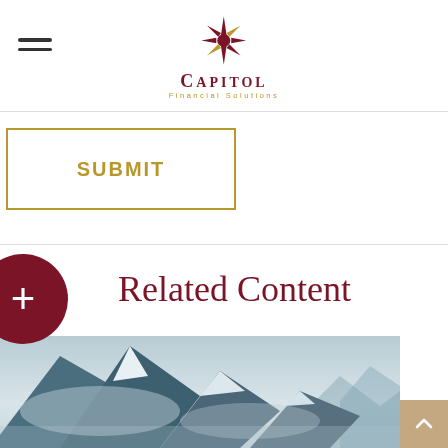[Figure (logo): Capitol Financial Solutions logo with compass rose icon in dark red/maroon and gold, company name in serif font]
SUBMIT
[Figure (illustration): Dark red circle with white plus sign, used as a UI toggle/expand button]
Related Content
[Figure (photo): Snow-capped mountain peaks with clouds and misty background, teal/blue tones]